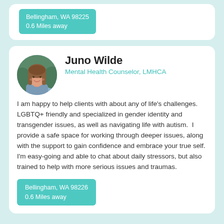Bellingham, WA 98225
0.6 Miles away
Juno Wilde
Mental Health Counselor, LMHCA
I am happy to help clients with about any of life's challenges. LGBTQ+ friendly and specialized in gender identity and transgender issues, as well as navigating life with autism.  I provide a safe space for working through deeper issues, along with the support to gain confidence and embrace your true self. I'm easy-going and able to chat about daily stressors, but also trained to help with more serious issues and traumas.
Bellingham, WA 98226
0.6 Miles away